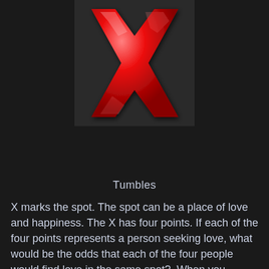[Figure (illustration): A shiny 3D red X letter on a dark gray/black background]
Tumbles
X marks the spot. The spot can be a place of love and happiness. The X has four points. If each of the four points represents a person seeking love, what would be the odds that each of the four people would find love in the same spot?  When you combine romance with a touch of tech, I knew the odds were very high.